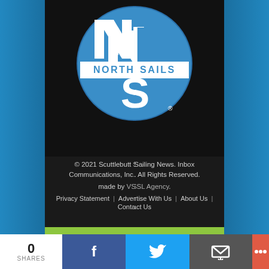[Figure (logo): North Sails circular logo with blue background, white NS letters and NORTH SAILS text]
© 2021 Scuttlebutt Sailing News. Inbox Communications, Inc. All Rights Reserved.
made by VSSL Agency.
Privacy Statement | Advertise With Us | About Us | Contact Us
Back to Top ↑
0
SHARES